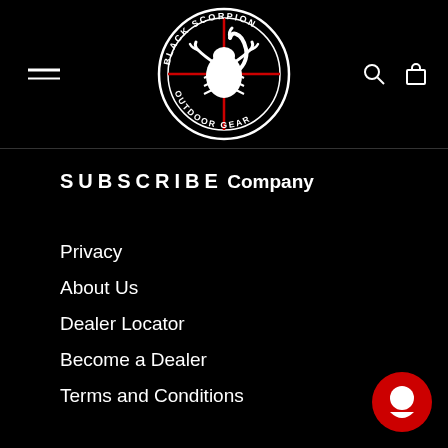[Figure (logo): Black Scorpion Outdoor Gear logo — circular badge with scorpion and crosshair, white and red on black background]
SUBSCRIBE
Company
Privacy
About Us
Dealer Locator
Become a Dealer
Terms and Conditions